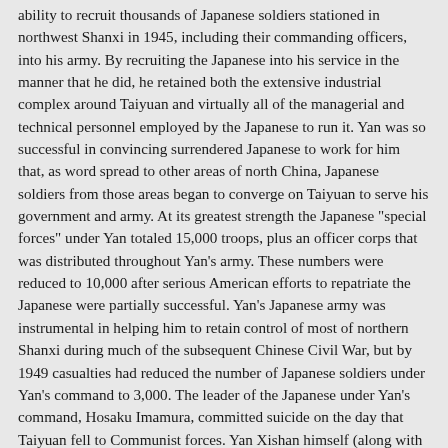ability to recruit thousands of Japanese soldiers stationed in northwest Shanxi in 1945, including their commanding officers, into his army. By recruiting the Japanese into his service in the manner that he did, he retained both the extensive industrial complex around Taiyuan and virtually all of the managerial and technical personnel employed by the Japanese to run it. Yan was so successful in convincing surrendered Japanese to work for him that, as word spread to other areas of north China, Japanese soldiers from those areas began to converge on Taiyuan to serve his government and army. At its greatest strength the Japanese "special forces" under Yan totaled 15,000 troops, plus an officer corps that was distributed throughout Yan's army. These numbers were reduced to 10,000 after serious American efforts to repatriate the Japanese were partially successful. Yan's Japanese army was instrumental in helping him to retain control of most of northern Shanxi during much of the subsequent Chinese Civil War, but by 1949 casualties had reduced the number of Japanese soldiers under Yan's command to 3,000. The leader of the Japanese under Yan's command, Hosaku Imamura, committed suicide on the day that Taiyuan fell to Communist forces. Yan Xishan himself (along with most of the provincial treasury) was airlifted out of